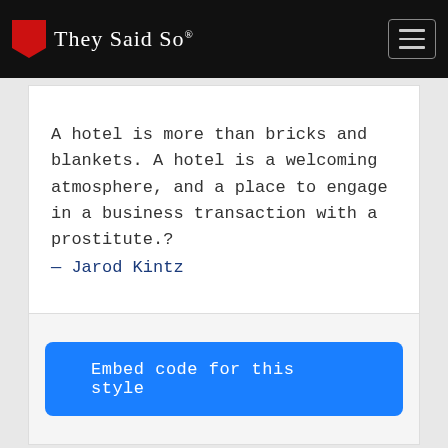They Said So®
A hotel is more than bricks and blankets. A hotel is a welcoming atmosphere, and a place to engage in a business transaction with a prostitute.?
— Jarod Kintz
Embed code for this style